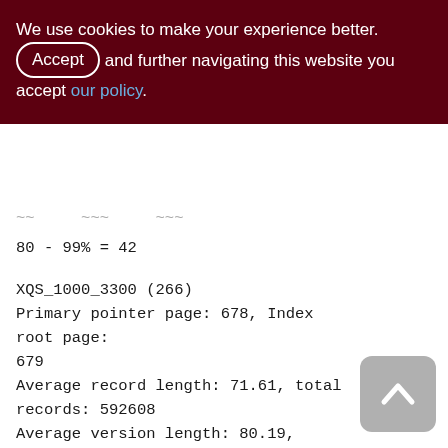We use cookies to make your experience better. By accepting and further navigating this website you accept our policy.
80 - 99% = 42
XQS_1000_3300 (266)
Primary pointer page: 678, Index root page: 679
Average record length: 71.61, total records: 592608
Average version length: 80.19, total versions: 63157, max versions: 1
Data pages: 9004, data page slots: 90...
average fill: 80%
Fill distribution: